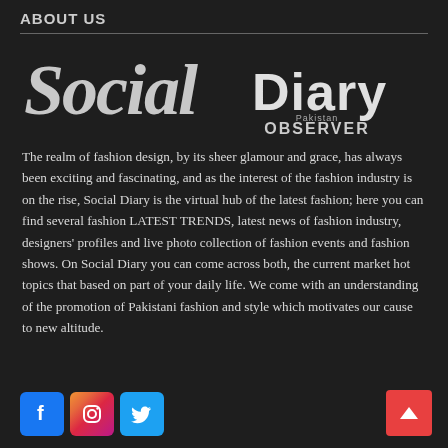ABOUT US
[Figure (logo): Social Diary Pakistan Observer logo — stylized script 'Social' in white with 'Diary' in bold sans-serif, and 'Pakistan OBSERVER' below in smaller text, on dark background]
The realm of fashion design, by its sheer glamour and grace, has always been exciting and fascinating, and as the interest of the fashion industry is on the rise, Social Diary is the virtual hub of the latest fashion; here you can find several fashion LATEST TRENDS, latest news of fashion industry, designers' profiles and live photo collection of fashion events and fashion shows. On Social Diary you can come across both, the current market hot topics that based on part of your daily life. We come with an understanding of the promotion of Pakistani fashion and style which motivates our cause to new altitude.
[Figure (logo): Social media icons: Facebook (blue), Instagram (gradient), Twitter (light blue), and a red scroll-to-top arrow button]